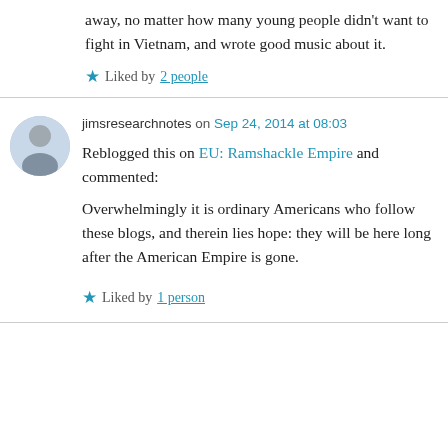away, no matter how many young people didn't want to fight in Vietnam, and wrote good music about it.
Liked by 2 people
jimsresearchnotes on Sep 24, 2014 at 08:03
Reblogged this on EU: Ramshackle Empire and commented:
Overwhelmingly it is ordinary Americans who follow these blogs, and therein lies hope: they will be here long after the American Empire is gone.
Liked by 1 person